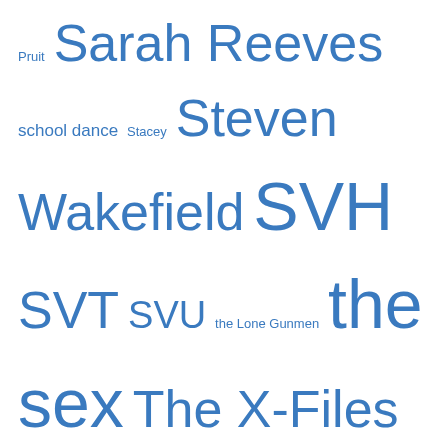Pruit Sarah Reeves school dance Stacey Steven Wakefield SVH SVT SVU the Lone Gunmen the sex The X-Files Todd Wilkins Tom Watts vacation Valerie Malone Will McCorkle Winston Egbert
Categories
books (589)
Misc. (21)
movies (10)
TV (1,198)
Blogroll
1bruce1